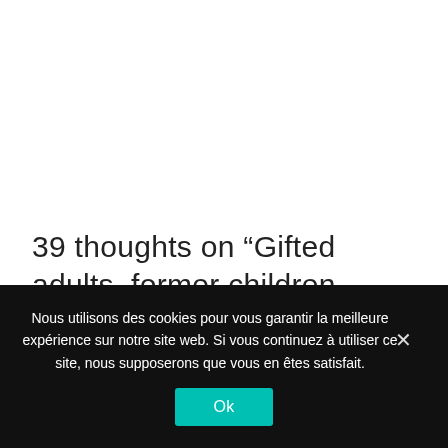39 thoughts on “Gifted adults, former children under their parents’ (critical) eyes”
Nous utilisons des cookies pour vous garantir la meilleure expérience sur notre site web. Si vous continuez à utiliser ce site, nous supposerons que vous en êtes satisfait.